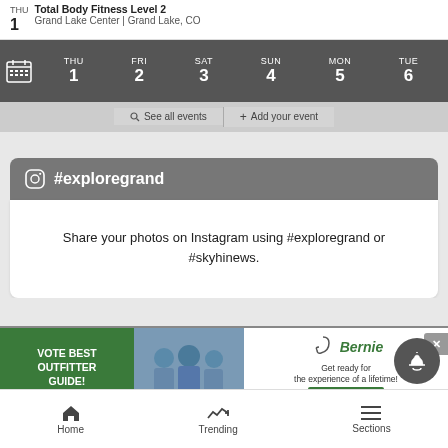THU 1 Total Body Fitness Level 2 Grand Lake Center | Grand Lake, CO
[Figure (screenshot): Calendar navigation bar showing THU 1, FRI 2, SAT 3, SUN 4, MON 5, TUE 6 with calendar icon]
See all events + Add your event
#exploregrand
Share your photos on Instagram using #exploregrand or #skyhinews.
[Figure (screenshot): Advertisement banner: Vote Best Outfitter Guide / photo of fishermen / Skyhi Bernie logo / Get ready for the experience of a lifetime! Learn More]
Home  Trending  Sections